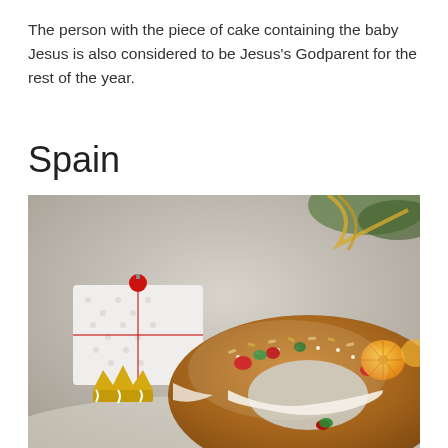The person with the piece of cake containing the baby Jesus is also considered to be Jesus's Godparent for the rest of the year.
Spain
[Figure (photo): A Spanish Roscón de Reyes (Three Kings cake) — a ring-shaped sweet bread decorated with candied fruits, almonds, and powdered sugar, with a cream filling visible. In the background is a white polka-dot wrapped gift box with a red Christmas ornament and a small golden crown decoration.]